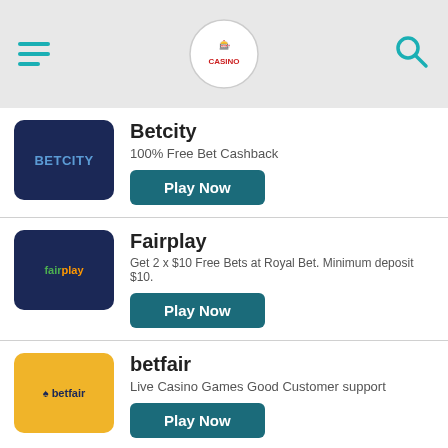Casino comparison website mobile app header with menu, logo, and search icon
Betcity — 100% Free Bet Cashback — Play Now
Fairplay — Get 2 x $10 Free Bets at Royal Bet. Minimum deposit $10. — Play Now
betfair — Live Casino Games Good Customer support — Play Now
SBO BET — SBOBET sportsbook is popular with most players because of its...